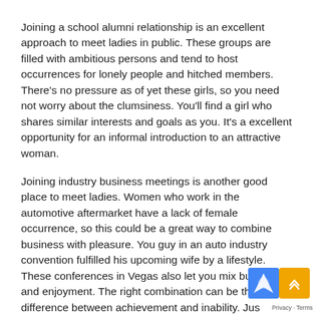Joining a school alumni relationship is an excellent approach to meet ladies in public. These groups are filled with ambitious persons and tend to host occurrences for lonely people and hitched members. There's no pressure as of yet these girls, so you need not worry about the clumsiness. You'll find a girl who shares similar interests and goals as you. It's a excellent opportunity for an informal introduction to an attractive woman.
Joining industry business meetings is another good place to meet ladies. Women who work in the automotive aftermarket have a lack of female occurrence, so this could be a great way to combine business with pleasure. You guy in an auto industry convention fulfilled his upcoming wife by a lifestyle. These conferences in Vegas also let you mix business and enjoyment. The right combination can be the difference between achievement and inability. Just remember, a good man's social circle should be rounded, not limited to male-only groups.